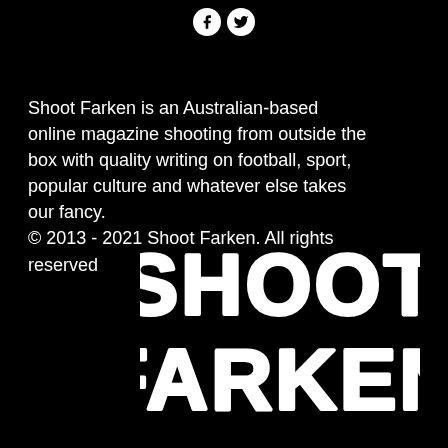[Figure (logo): Two social media icons (Facebook and Twitter) as white circles with black symbols, centered at top of page]
Shoot Farken is an Australian-based online magazine shooting from outside the box with quality writing on football, sport, popular culture and whatever else takes our fancy.
© 2013 - 2021 Shoot Farken. All rights reserved
[Figure (logo): Shoot Farken logo in large bold hand-drawn white lettering on black background, two lines: SHOOT FARKEN]